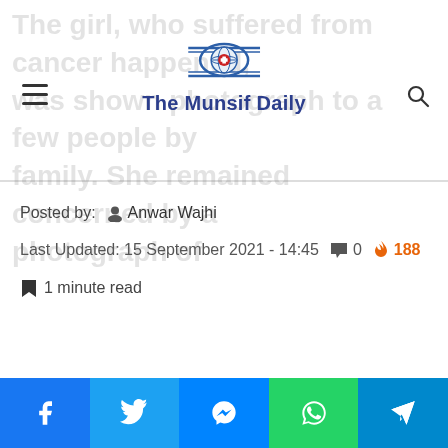The Munsif Daily
The girl, who suffered from cancer happened, was shown photograph to a few people by family. She remained concerned by a photograph of
Posted by: Anwar Wajhi
Last Updated: 15 September 2021 - 14:45  0  188
1 minute read